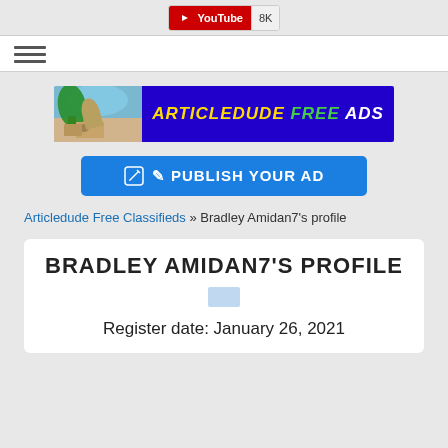[Figure (logo): YouTube subscribe badge showing 8K subscribers]
[Figure (other): Hamburger menu icon (three horizontal lines)]
[Figure (logo): ArticleDude Free Ads banner with beach photo on left and blue background with yellow/green/white text on right]
[Figure (other): Blue Publish Your Ad button with edit icon]
Articledude Free Classifieds » Bradley Amidan7's profile
BRADLEY AMIDAN7'S PROFILE
Register date: January 26, 2021